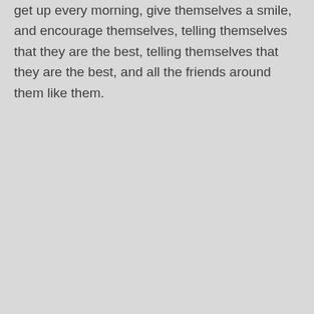get up every morning, give themselves a smile, and encourage themselves, telling themselves that they are the best, telling themselves that they are the best, and all the friends around them like them.